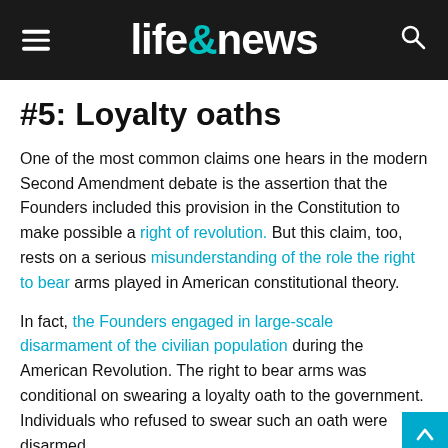life&news
#5: Loyalty oaths
One of the most common claims one hears in the modern Second Amendment debate is the assertion that the Founders included this provision in the Constitution to make possible a right of revolution. But this claim, too, rests on a serious misunderstanding of the role the right to bear arms played in American constitutional theory.
In fact, the Founders engaged in large-scale disarmament of the civilian population during the American Revolution. The right to bear arms was conditional on swearing a loyalty oath to the government. Individuals who refused to swear such an oath were disarmed.